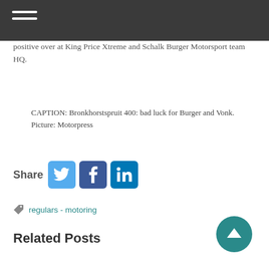positive over at King Price Xtreme and Schalk Burger Motorsport team HQ.
CAPTION: Bronkhorstspruit 400: bad luck for Burger and Vonk. Picture: Motorpress
[Figure (other): Share icons row: Share label with Twitter, Facebook, and LinkedIn social media icons]
regulars - motoring
Related Posts